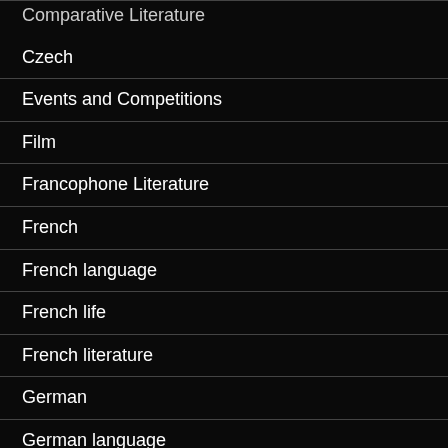Comparative Literature
Czech
Events and Competitions
Film
Francophone Literature
French
French language
French life
French literature
German
German language
German life
German Literature